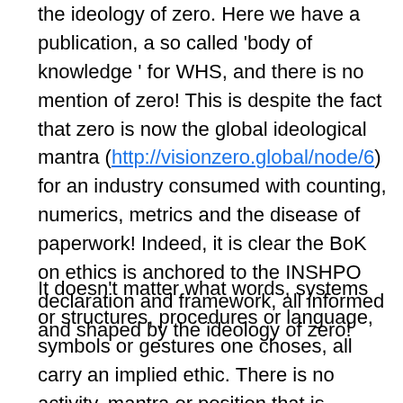the ideology of zero. Here we have a publication, a so called 'body of knowledge ' for WHS, and there is no mention of zero! This is despite the fact that zero is now the global ideological mantra (http://visionzero.global/node/6) for an industry consumed with counting, numerics, metrics and the disease of paperwork! Indeed, it is clear the BoK on ethics is anchored to the INSHPO declaration and framework, all informed and shaped by the ideology of zero!
It doesn't matter what words, systems or structures, procedures or language, symbols or gestures one choses, all carry an implied ethic. There is no activity, mantra or position that is neutral or objective. All humans carry a bias that ought to be declared as an essential to being ethical, also an essential to any safety investigation. Risk discourse, ethics is essentially...